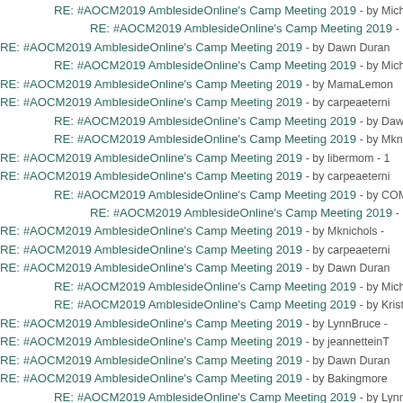RE: #AOCM2019 AmblesideOnline's Camp Meeting 2019 - by Michelle...
RE: #AOCM2019 AmblesideOnline's Camp Meeting 2019 - by Daw...
RE: #AOCM2019 AmblesideOnline's Camp Meeting 2019 - by Dawn Duran...
RE: #AOCM2019 AmblesideOnline's Camp Meeting 2019 - by MichelleD...
RE: #AOCM2019 AmblesideOnline's Camp Meeting 2019 - by MamaLemon...
RE: #AOCM2019 AmblesideOnline's Camp Meeting 2019 - by carpeaeterni...
RE: #AOCM2019 AmblesideOnline's Camp Meeting 2019 - by Dawn Dur...
RE: #AOCM2019 AmblesideOnline's Camp Meeting 2019 - by Mknichols...
RE: #AOCM2019 AmblesideOnline's Camp Meeting 2019 - by libermom - 1...
RE: #AOCM2019 AmblesideOnline's Camp Meeting 2019 - by carpeaeterni...
RE: #AOCM2019 AmblesideOnline's Camp Meeting 2019 - by COMama...
RE: #AOCM2019 AmblesideOnline's Camp Meeting 2019 - by Michelle...
RE: #AOCM2019 AmblesideOnline's Camp Meeting 2019 - by Mknichols -...
RE: #AOCM2019 AmblesideOnline's Camp Meeting 2019 - by carpeaeterni...
RE: #AOCM2019 AmblesideOnline's Camp Meeting 2019 - by Dawn Duran...
RE: #AOCM2019 AmblesideOnline's Camp Meeting 2019 - by MichelleD...
RE: #AOCM2019 AmblesideOnline's Camp Meeting 2019 - by Kristen V...
RE: #AOCM2019 AmblesideOnline's Camp Meeting 2019 - by LynnBruce -...
RE: #AOCM2019 AmblesideOnline's Camp Meeting 2019 - by jeannetteinT...
RE: #AOCM2019 AmblesideOnline's Camp Meeting 2019 - by Dawn Duran...
RE: #AOCM2019 AmblesideOnline's Camp Meeting 2019 - by Bakingmore...
RE: #AOCM2019 AmblesideOnline's Camp Meeting 2019 - by LynnBruce...
RE: #AOCM2019 AmblesideOnline's Camp Meeting 2019 - by michelle daw...
RE: #AOCM2019 AmblesideOnline's Camp Meeting 2019 - by hiddenart...
RE: #AOCM2019 AmblesideOnline's Camp Meeting 2019 - by Leahpolk -...